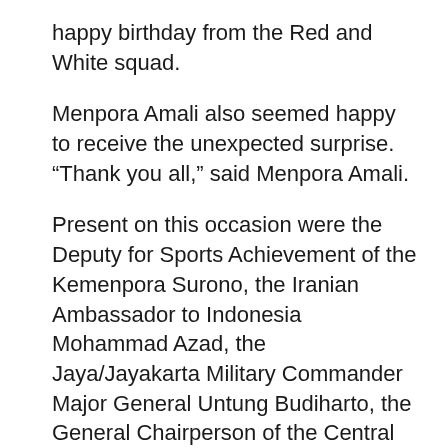happy birthday from the Red and White squad.
Menpora Amali also seemed happy to receive the unexpected surprise. “Thank you all,” said Menpora Amali.
Present on this occasion were the Deputy for Sports Achievement of the Kemenpora Surono, the Iranian Ambassador to Indonesia Mohammad Azad, the Jaya/Jayakarta Military Commander Major General Untung Budiharto, the General Chairperson of the Central Executive of the Indonesian Hockey Federation, Major General Budi Sulistijono. (RO/OL-09)